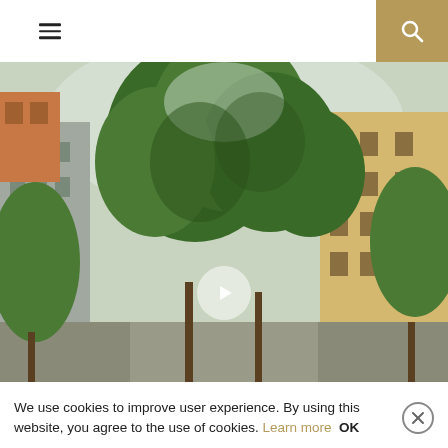Navigation header with hamburger menu and search button
[Figure (photo): Street scene with tall green trees lining a European-style street with multi-story residential buildings on both sides. Buildings are beige, orange-red, and grey tones. Sky is overcast. A video play button is overlaid in the center.]
We use cookies to improve user experience. By using this website, you agree to the use of cookies. Learn more OK